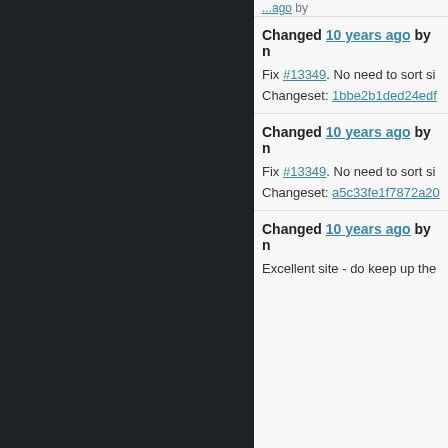Changed 10 years ago by ...
Fix #13349. No need to sort si...
Changeset: 1bbe2b1ded24edf...
Changed 10 years ago by ...
Fix #13349. No need to sort si...
Changeset: a5c33fe1f7872a20...
Changed 10 years ago by n...
Excellent site - do keep up the...